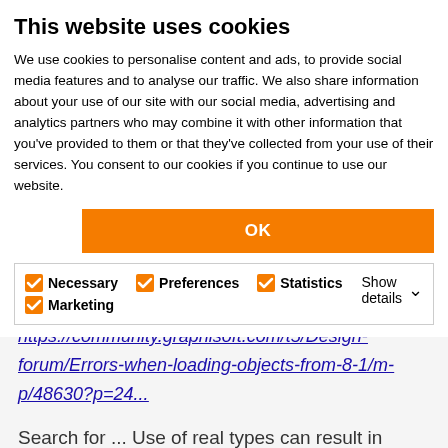This website uses cookies
We use cookies to personalise content and ads, to provide social media features and to analyse our traffic. We also share information about your use of our site with our social media, advertising and analytics partners who may combine it with other information that you've provided to them or that they've collected from your use of their services. You consent to our cookies if you continue to use our website.
OK
Necessary  Preferences  Statistics  Marketing  Show details
https://community.graphisoft.com/t5/Design-forum/Errors-when-loading-objects-from-8-1/m-p/48630?p=24...
Search for ... Use of real types can result in precision problems
and you will see more posts.